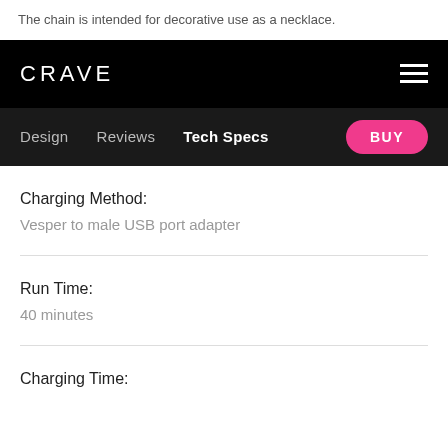The chain is intended for decorative use as a necklace.
CRAVE
Design   Reviews   Tech Specs   BUY
Charging Method:
Vesper to male USB port adapter
Run Time:
40 minutes
Charging Time: